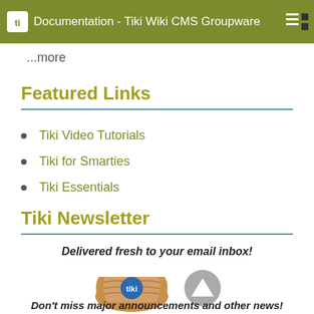Documentation - Tiki Wiki CMS Groupware
...more
Featured Links
Tiki Video Tutorials
Tiki for Smarties
Tiki Essentials
Tiki Newsletter
Delivered fresh to your email inbox!
[Figure (illustration): Tiki newsletter rolled newspaper illustration with Tiki logo]
Don't miss major announcements and other news!